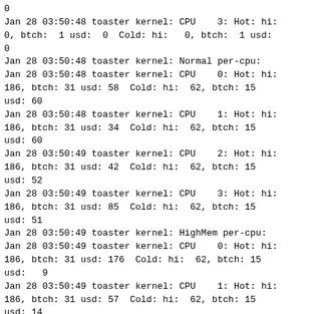0
Jan 28 03:50:48 toaster kernel: CPU    3: Hot: hi:
0, btch:  1 usd:  0  Cold: hi:   0, btch:  1 usd:
0
Jan 28 03:50:48 toaster kernel: Normal per-cpu:
Jan 28 03:50:48 toaster kernel: CPU    0: Hot: hi:
186, btch: 31 usd: 58  Cold: hi:  62, btch: 15
usd: 60
Jan 28 03:50:48 toaster kernel: CPU    1: Hot: hi:
186, btch: 31 usd: 34  Cold: hi:  62, btch: 15
usd: 60
Jan 28 03:50:49 toaster kernel: CPU    2: Hot: hi:
186, btch: 31 usd: 42  Cold: hi:  62, btch: 15
usd: 52
Jan 28 03:50:49 toaster kernel: CPU    3: Hot: hi:
186, btch: 31 usd: 85  Cold: hi:  62, btch: 15
usd: 51
Jan 28 03:50:49 toaster kernel: HighMem per-cpu:
Jan 28 03:50:49 toaster kernel: CPU    0: Hot: hi:
186, btch: 31 usd: 176  Cold: hi:  62, btch: 15
usd:   9
Jan 28 03:50:49 toaster kernel: CPU    1: Hot: hi:
186, btch: 31 usd: 57  Cold: hi:  62, btch: 15
usd: 14
Jan 28 03:50:49 toaster kernel: CPU    2: Hot: hi:
186, btch: 31 usd: 143  Cold: hi:  62, btch: 15
usd: 11
Jan 28 03:50:49 toaster kernel: CPU    3: Hot: hi:
186, btch: 31 usd: 55  Cold: hi:  62, btch: 15
usd:  0